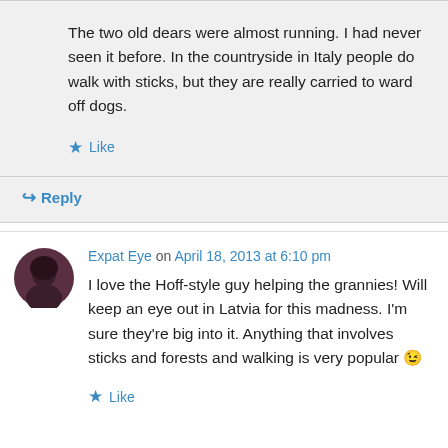The two old dears were almost running. I had never seen it before. In the countryside in Italy people do walk with sticks, but they are really carried to ward off dogs.
★ Like
↪ Reply
Expat Eye on April 18, 2013 at 6:10 pm
I love the Hoff-style guy helping the grannies! Will keep an eye out in Latvia for this madness. I'm sure they're big into it. Anything that involves sticks and forests and walking is very popular 😉
★ Like